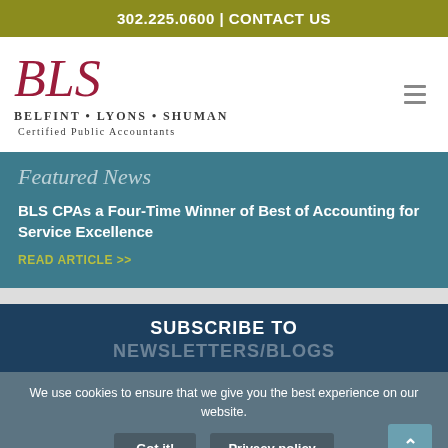302.225.0600 | CONTACT US
[Figure (logo): BLS - Belfint Lyons Shuman Certified Public Accountants logo with red cursive BLS text]
Featured News
BLS CPAs a Four-Time Winner of Best of Accounting for Service Excellence
READ ARTICLE >>
SUBSCRIBE TO
NEWSLETTERS/BLOGS
We use cookies to ensure that we give you the best experience on our website.
Got it!   Privacy policy